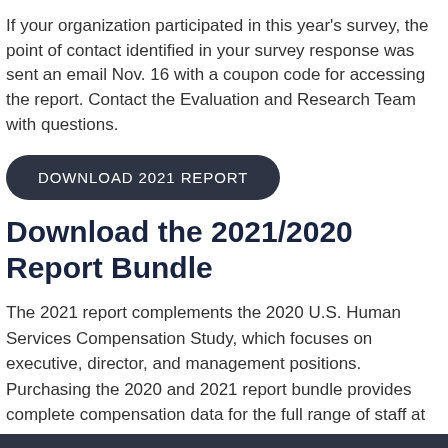If your organization participated in this year's survey, the point of contact identified in your survey response was sent an email Nov. 16 with a coupon code for accessing the report. Contact the Evaluation and Research Team with questions.
[Figure (other): Dark rounded button with text 'DOWNLOAD 2021 REPORT']
Download the 2021/2020 Report Bundle
The 2021 report complements the 2020 U.S. Human Services Compensation Study, which focuses on executive, director, and management positions. Purchasing the 2020 and 2021 report bundle provides complete compensation data for the full range of staff at your organization. It also includes in-depth information on workforce trends.